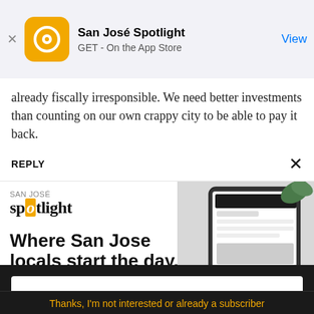San José Spotlight — GET - On the App Store — View
already fiscally irresponsible. We need better investments than counting on our own crappy city to be able to pay it back.
REPLY ✕
[Figure (advertisement): San José Spotlight ad: 'Where San Jose locals start the day.' with logo and tablet image. URL: sanjosespotlight.com]
EMAIL ADDRESS
SUBSCRIBE
Thanks, I'm not interested or already a subscriber